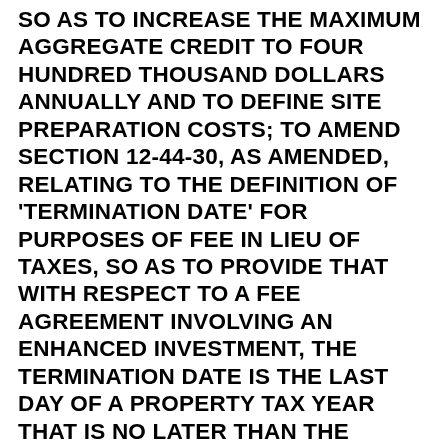SO AS TO INCREASE THE MAXIMUM AGGREGATE CREDIT TO FOUR HUNDRED THOUSAND DOLLARS ANNUALLY AND TO DEFINE SITE PREPARATION COSTS; TO AMEND SECTION 12-44-30, AS AMENDED, RELATING TO THE DEFINITION OF 'TERMINATION DATE' FOR PURPOSES OF FEE IN LIEU OF TAXES, SO AS TO PROVIDE THAT WITH RESPECT TO A FEE AGREEMENT INVOLVING AN ENHANCED INVESTMENT, THE TERMINATION DATE IS THE LAST DAY OF A PROPERTY TAX YEAR THAT IS NO LATER THAN THE THIRTY-NINTH YEAR FOLLOWING THE FIRST PROPERTY TAX YEAR IN WHICH THE PROPERTY IS PLACED IN SERVICE, AND TO ALLOW FOR AN EXTENSION; TO AMEND SECTIONS 4-12-30, 4-29-67, AND 12-44-90, ALL AS AMENDED, RELATING TO FEE IN LIEU OF TAXES, SO AS TO PROVIDE THAT A COUNTY AUDITOR OR COUNTY ASSESSOR MAY REQUEST AND OBTAIN